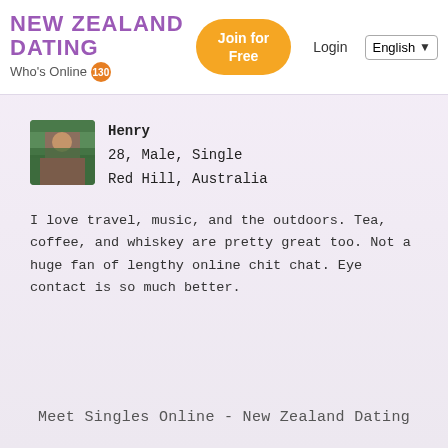NEW ZEALAND DATING | Who's Online 130 | Join for Free | Login | English
[Figure (photo): Profile photo of Henry, a person outdoors in a nature/bush setting]
Henry
28, Male, Single
Red Hill, Australia
I love travel, music, and the outdoors. Tea, coffee, and whiskey are pretty great too. Not a huge fan of lengthy online chit chat. Eye contact is so much better.
Meet Singles Online - New Zealand Dating